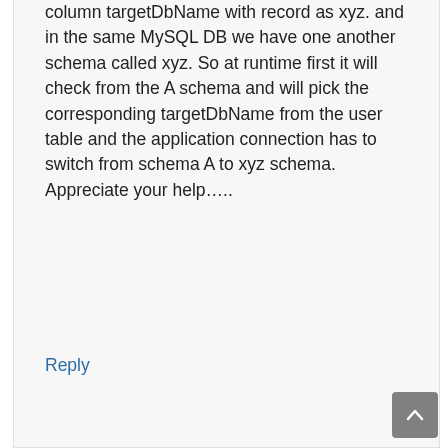column targetDbName with record as xyz. and in the same MySQL DB we have one another schema called xyz. So at runtime first it will check from the A schema and will pick the corresponding targetDbName from the user table and the application connection has to switch from schema A to xyz schema. Appreciate your help…..
Reply